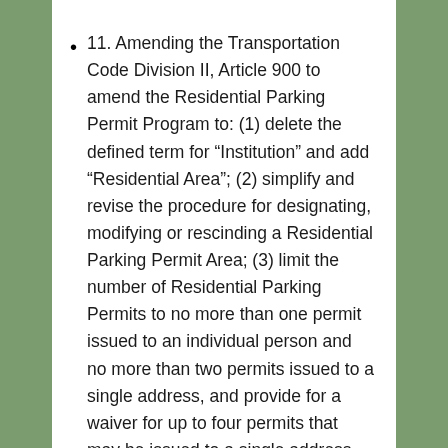11. Amending the Transportation Code Division II, Article 900 to amend the Residential Parking Permit Program to: (1) delete the defined term for “Institution” and add “Residential Area”; (2) simplify and revise the procedure for designating, modifying or rescinding a Residential Parking Permit Area; (3) limit the number of Residential Parking Permits to no more than one permit issued to an individual person and no more than two permits issued to a single address, and provide for a waiver for up to four permits that may be issued to a single address, except that Health Care Worker or Childcare permits which shall not count towards the maximum number of permits that may be issued for residents of Residential